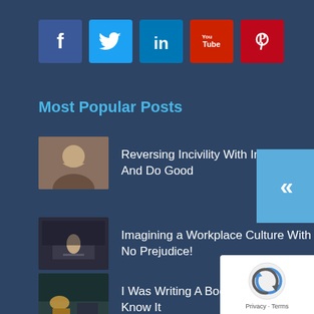[Figure (infographic): Row of 5 social media icons: Facebook (blue), Twitter (light blue), LinkedIn (blue), YouTube (red), Pinterest (red)]
Most Popular Posts
[Figure (photo): Thumbnail photo of a woman, warm tones]
Reversing Incivility With Intent To Be And Do Good
[Figure (photo): Thumbnail photo of a person at a desk in a dark room]
Imagining a Workplace Culture With No Prejudice!
[Figure (photo): Thumbnail photo of a desk with warm lamp light]
I Was Writing A Book But Didn't Know It
[Figure (other): reCAPTCHA badge with logo and Privacy - Terms links]